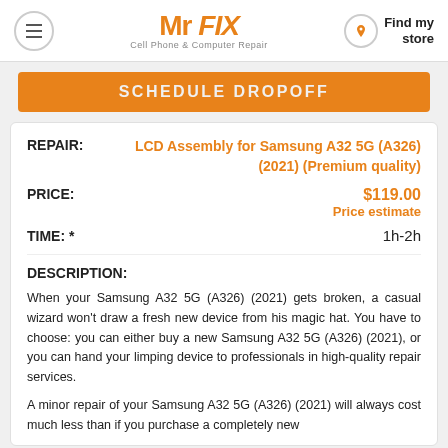Mr FIX - Cell Phone & Computer Repair | Find my store
SCHEDULE DROPOFF
REPAIR: LCD Assembly for Samsung A32 5G (A326) (2021) (Premium quality)
PRICE: $119.00 Price estimate
TIME: * 1h-2h
DESCRIPTION:
When your Samsung A32 5G (A326) (2021) gets broken, a casual wizard won't draw a fresh new device from his magic hat. You have to choose: you can either buy a new Samsung A32 5G (A326) (2021), or you can hand your limping device to professionals in high-quality repair services.
A minor repair of your Samsung A32 5G (A326) (2021) will always cost much less than if you purchase a completely new